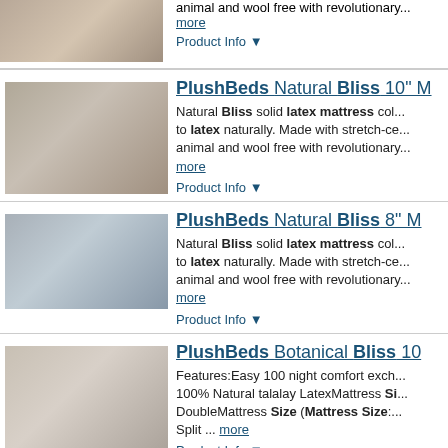[Figure (photo): Partial product image of a PlushBeds mattress on a bed]
animal and wool free with revolutionary... more
Product Info ▼
PlushBeds Natural Bliss 10" M...
[Figure (photo): Product image of PlushBeds Natural Bliss 10 mattress on a bed]
Natural Bliss solid latex mattress col... to latex naturally. Made with stretch-ce... animal and wool free with revolutionary... more
Product Info ▼
PlushBeds Natural Bliss 8" M...
[Figure (photo): Product image of PlushBeds Natural Bliss 8 mattress on a bed]
Natural Bliss solid latex mattress col... to latex naturally. Made with stretch-ce... animal and wool free with revolutionary... more
Product Info ▼
PlushBeds Botanical Bliss 10...
[Figure (photo): Product image of PlushBeds Botanical Bliss mattress on a bed]
Features:Easy 100 night comfort exch... 100% Natural talalay LatexMattress Si... DoubleMattress Size (Mattress Size:... Split ... more
Product Info ▼
PlushBeds Natural Bliss 8" M...
[Figure (photo): Partial product image of PlushBeds Natural Bliss 8 mattress on a bed]
Natural Bliss solid latex mattress col... to latex naturally. Made with stretch-ce...